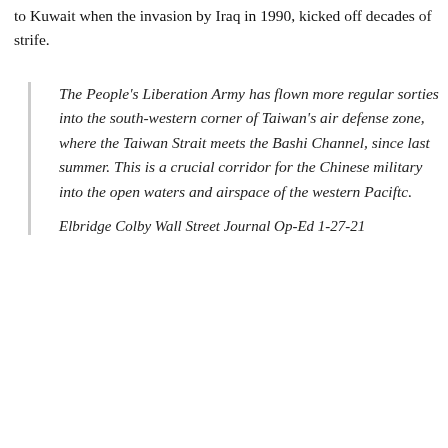to Kuwait when the invasion by Iraq in 1990, kicked off decades of strife.
The People's Liberation Army has flown more regular sorties into the south-western corner of Taiwan's air defense zone, where the Taiwan Strait meets the Bashi Channel, since last summer. This is a crucial corridor for the Chinese military into the open waters and airspace of the western Paciftc.

Elbridge Colby Wall Street Journal Op-Ed 1-27-21
Defense officials are also sounding the alarm on the possibility. If the People's Liberation Army expanded a regular presence to the airspace east of Taiwan, it could undermine Taiwan's security in a drastic manner. The current administration may not possess the fortitude or the appetite to go to the mat with China, as those tensions could set off geopolitical tumult that dwarfs the situation in the Middle East. China may be flexing its defensive muscle in the face of ghostly human rights